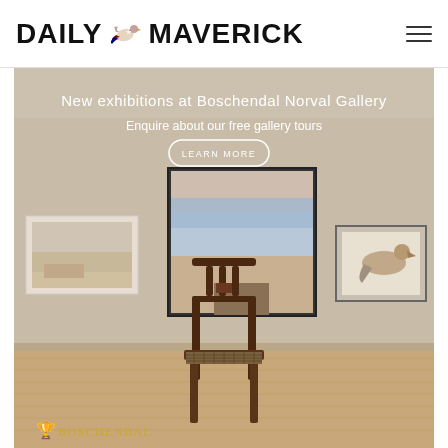DAILY MAVERICK
[Figure (photo): Advertisement for Boschendal Norval Gallery showing an interior gallery room with artworks on cream walls, a dark wooden chair in the center, and wooden floor. Overlay text reads 'New exhibitions at Boschendal Norval Gallery' and 'Enquire about our free gallery tours' with a LEARN MORE button. Boschendal logo at bottom left.]